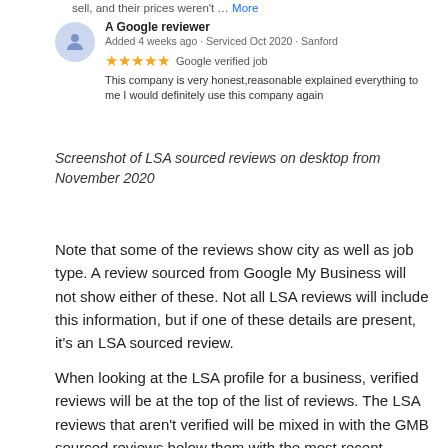sell, and their prices weren't … More
[Figure (screenshot): Google review card showing 'A Google reviewer', 'Added 4 weeks ago · Serviced Oct 2020 · Sanford', 5 stars, 'Google verified job', and review text: 'This company is very honest,reasonable explained everything to me I would definitely use this company again']
Screenshot of LSA sourced reviews on desktop from November 2020
Note that some of the reviews show city as well as job type. A review sourced from Google My Business will not show either of these. Not all LSA reviews will include this information, but if one of these details are present, it's an LSA sourced review.
When looking at the LSA profile for a business, verified reviews will be at the top of the list of reviews. The LSA reviews that aren't verified will be mixed in with the GMB sourced reviews below them with the most recent